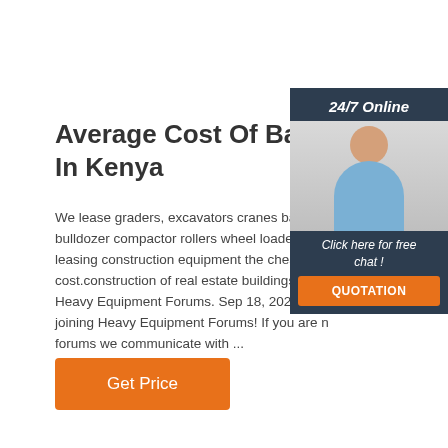Average Cost Of Backhoe Ex In Kenya
We lease graders, excavators cranes back hoe bulldozer compactor rollers wheel loaders cra leasing construction equipment the cheapest cost.construction of real estate buildings tarma Heavy Equipment Forums. Sep 18, 2021· Tha joining Heavy Equipment Forums! If you are n forums we communicate with ...
[Figure (photo): Customer service representative woman with headset, '24/7 Online' header, 'Click here for free chat!' text, and orange QUOTATION button on dark navy background widget]
Get Price